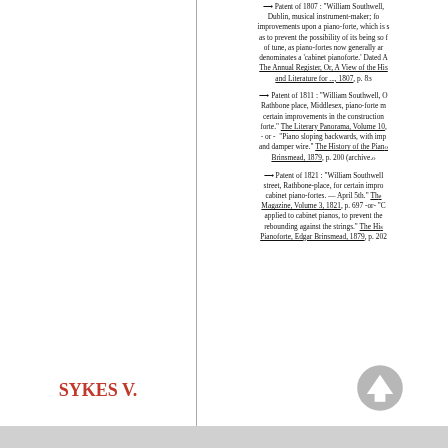—→ Patent of 1807 : "William Southwell, Dublin, musical instrument-maker; for improvements upon a piano-forte, which is so as to prevent the possibility of its being so far of tune, as piano-fortes now generally ar denomintes a 'cabinet pianoforte.' Dated A The Annual Register, Or, A View of the His and Literature for ..., 1807, p. 83
—→ Patent of 1811 : "William Southwell, O Rathbone place, Middlesex, piano-forte m certain improvements in the construction forte." The Literary Panorama, Volume 10, - or - "Piano sloping backwards, with imp and damper wire." The History of the Piano Brinsmead, 1879, p. 200 (archive.)
—→ Patent of 1821 : "William Southwell street, Rathbone-place, for certain impro cabinet piano-fortes. — April 5th." Th Magazine, Volume 3, 1821, p. 697 -or- "C applied to cabinet pianos, to prevent the rebounding against the strings." The Hi Pianoforte, Edgar Brinsmead, 1879, p. 202
SYKES V.
[Figure (other): Grey circular up-arrow icon button]